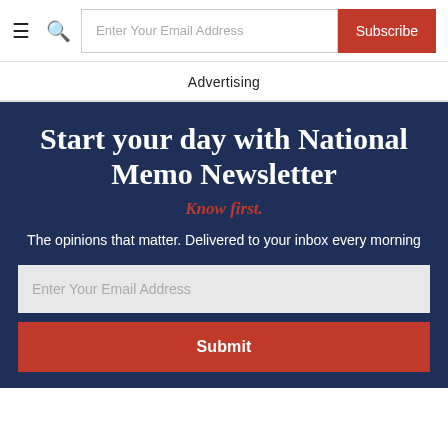☰  🔍  Enter Your Email Address  Subscribe
Advertising
Start your day with National Memo Newsletter
Know first.
The opinions that matter. Delivered to your inbox every morning
Enter Your Email Address
Submit